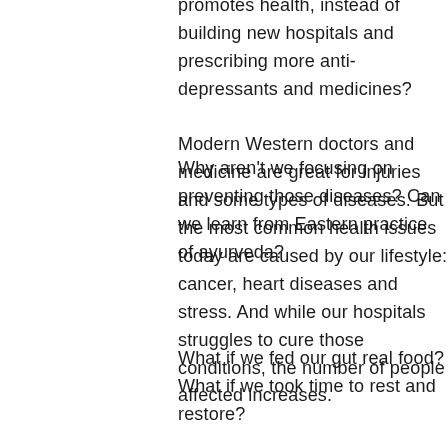promotes health, instead of building new hospitals and prescribing more anti-depressants and medicines? Modern Western doctors and medicine are great for injuries and some types of diseases. But the most common health issues today are caused by our lifestyle: cancer, heart diseases and stress. And while our hospitals struggles to cure those conditions, the number of people affected increases.
Why aren't we focusing on preventing those diseases? Can we learn from Eastern practice of ayurveda?
What if we fed our gut real food?
What if we took time to rest and restore?